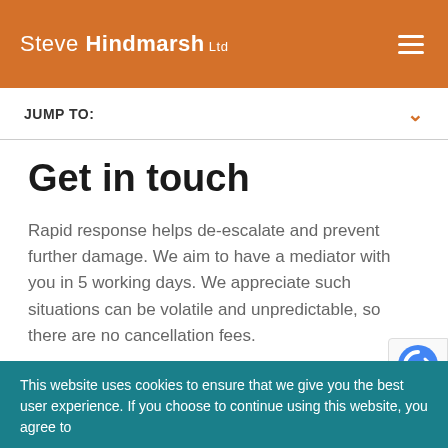Steve Hindmarsh Ltd
JUMP TO:
Get in touch
Rapid response helps de-escalate and prevent further damage. We aim to have a mediator with you in 5 working days. We appreciate such situations can be volatile and unpredictable, so there are no cancellation fees.
CONTACT US
This website uses cookies to ensure that we give you the best user experience. If you choose to continue using this website, you agree to